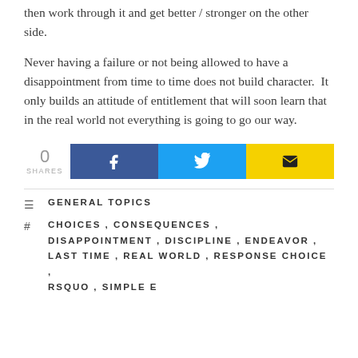then work through it and get better / stronger on the other side.
Never having a failure or not being allowed to have a disappointment from time to time does not build character.  It only builds an attitude of entitlement that will soon learn that in the real world not everything is going to go our way.
[Figure (infographic): Social share bar showing 0 SHARES with Facebook (blue), Twitter (cyan), and email (yellow) buttons]
GENERAL TOPICS
CHOICES, CONSEQUENCES, DISAPPOINTMENT, DISCIPLINE, ENDEAVOR, LAST TIME, REAL WORLD, RESPONSE CHOICE, RSQUO, SIMPLE E